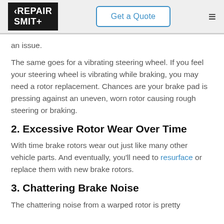RepairSmith | Get a Quote
an issue.
The same goes for a vibrating steering wheel. If you feel your steering wheel is vibrating while braking, you may need a rotor replacement. Chances are your brake pad is pressing against an uneven, worn rotor causing rough steering or braking.
2. Excessive Rotor Wear Over Time
With time brake rotors wear out just like many other vehicle parts. And eventually, you'll need to resurface or replace them with new brake rotors.
3. Chattering Brake Noise
The chattering noise from a warped rotor is pretty